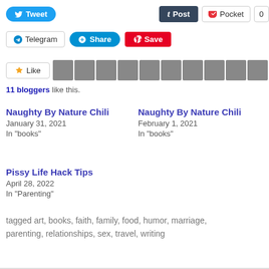[Figure (other): Social sharing buttons row 1: Tweet (Twitter), Post (Tumblr), Pocket with count 0]
[Figure (other): Social sharing buttons row 2: Telegram, Share (Skype), Save (Pinterest)]
[Figure (other): Like button with star icon followed by 10 blogger avatar thumbnails]
11 bloggers like this.
Naughty By Nature Chili
January 31, 2021
In "books"
Naughty By Nature Chili
February 1, 2021
In "books"
Pissy Life Hack Tips
April 28, 2022
In "Parenting"
tagged art, books, faith, family, food, humor, marriage, parenting, relationships, sex, travel, writing